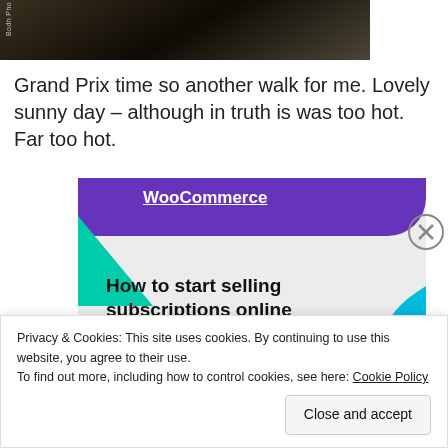[Figure (photo): Partial photo of dark ground with grass/straw, photo credit text on left side rotated vertically reading 'Bodh Pho']
Grand Prix time so another walk for me. Lovely sunny day – although in truth is was too hot. Far too hot.
[Figure (screenshot): Advertisement banner for WooCommerce showing 'How to start selling subscriptions online' with purple and teal design elements]
Privacy & Cookies: This site uses cookies. By continuing to use this website, you agree to their use.
To find out more, including how to control cookies, see here: Cookie Policy
Close and accept